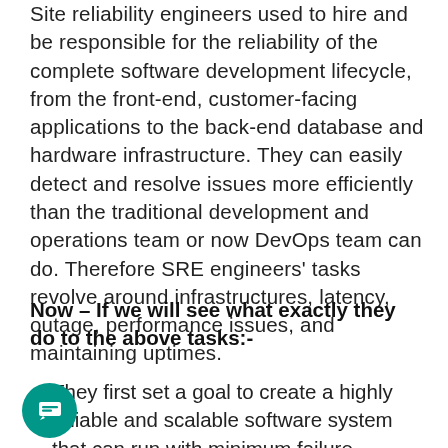Site reliability engineers used to hire and be responsible for the reliability of the complete software development lifecycle, from the front-end, customer-facing applications to the back-end database and hardware infrastructure. They can easily detect and resolve issues more efficiently than the traditional development and operations team or now DevOps team can do. Therefore SRE engineers' tasks revolve around infrastructures, latency, outage, performance issues, and maintaining uptimes.
Now – If we will see what exactly they do to the above tasks:-
They first set a goal to create a highly reliable and scalable software system that can run with minimum failure